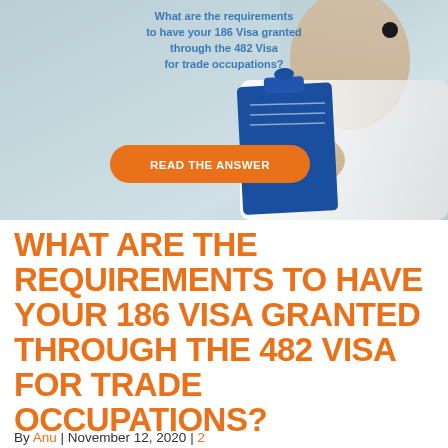[Figure (photo): Hero image of a person in a white coat holding a blue clipboard, with overlaid text asking about 186 Visa requirements and an orange 'READ THE ANSWER' button]
WHAT ARE THE REQUIREMENTS TO HAVE YOUR 186 VISA GRANTED THROUGH THE 482 VISA FOR TRADE OCCUPATIONS?
By Anu | November 12, 2020 | 2